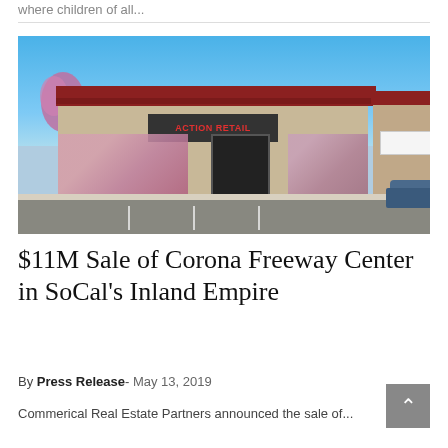where children of all...
[Figure (photo): Exterior photo of a retail strip center (Corona Freeway Center) with a red-roofed building, colorful mural graphics on the storefront windows, dark entrance doors, a parking lot in the foreground, a flowering tree on the left, and a blue sky above. A blue SUV is visible at right.]
$11M Sale of Corona Freeway Center in SoCal's Inland Empire
By Press Release- May 13, 2019
Commerical Real Estate Partners announced the sale of...